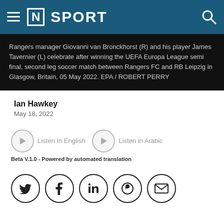[N] SPORT
Rangers manager Giovanni van Bronckhorst (R) and his player James Tavernier (L) celebrate after winning the UEFA Europa League semi final, second leg soccer match between Rangers FC and RB Leipzig in Glasgow, Britain, 05 May 2022. EPA / ROBERT PERRY
Ian Hawkey
May 18, 2022
Listen In English
Listen in Arabic
Beta V.1.0 - Powered by automated translation
[Figure (other): Social media share icons: Twitter, Facebook, LinkedIn, WhatsApp, Email]